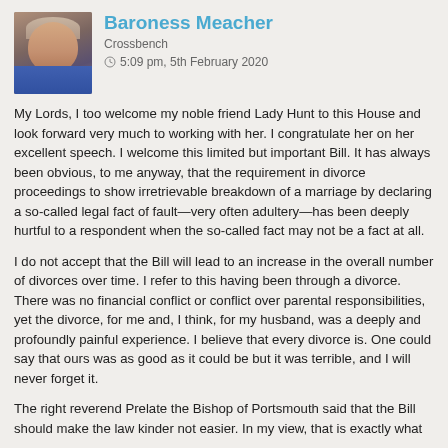[Figure (photo): Portrait photo of Baroness Meacher, an older woman with short grey-brown hair wearing a blue jacket]
Baroness Meacher
Crossbench
5:09 pm, 5th February 2020
My Lords, I too welcome my noble friend Lady Hunt to this House and look forward very much to working with her. I congratulate her on her excellent speech. I welcome this limited but important Bill. It has always been obvious, to me anyway, that the requirement in divorce proceedings to show irretrievable breakdown of a marriage by declaring a so-called legal fact of fault—very often adultery—has been deeply hurtful to a respondent when the so-called fact may not be a fact at all.
I do not accept that the Bill will lead to an increase in the overall number of divorces over time. I refer to this having been through a divorce. There was no financial conflict or conflict over parental responsibilities, yet the divorce, for me and, I think, for my husband, was a deeply and profoundly painful experience. I believe that every divorce is. One could say that ours was as good as it could be but it was terrible, and I will never forget it.
The right reverend Prelate the Bishop of Portsmouth said that the Bill should make the law kinder not easier. In my view, that is exactly what